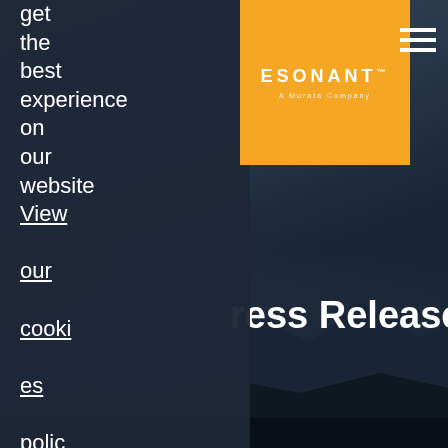[Figure (screenshot): Resonant (A Murata Company) website screenshot showing a dark hero background with mountain silhouette, orange logo box, hamburger menu, cookie consent overlay panel, and Press Releases page title]
get the best experience on our website View our cookies policy
ACCEPT
[Figure (logo): Resonant TM - A Murata Company logo on orange background]
Press Releases